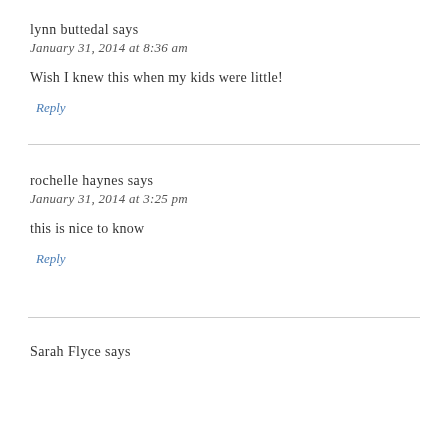lynn buttedal says
January 31, 2014 at 8:36 am
Wish I knew this when my kids were little!
Reply
rochelle haynes says
January 31, 2014 at 3:25 pm
this is nice to know
Reply
Sarah Flyce says